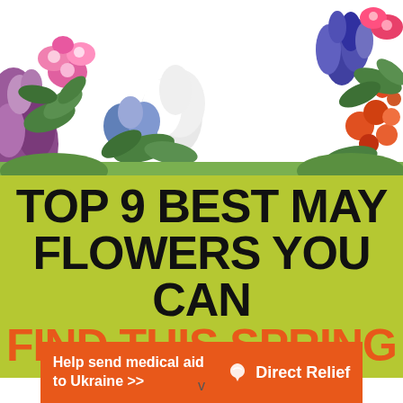[Figure (photo): Floral arrangement border with various colorful spring flowers including lilacs, cherry blossoms, muscari (grape hyacinths), orange quince, blue salvia, white buddleia, pink flowers, and green foliage arranged around the top portion of the image]
TOP 9 BEST MAY FLOWERS YOU CAN FIND THIS SPRING
[Figure (infographic): Orange advertisement banner: Help send medical aid to Ukraine >> with Direct Relief logo (white bird icon) on the right]
v